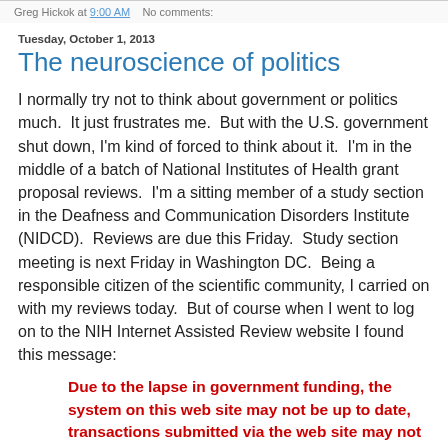Greg Hickok at 9:00 AM   No comments:
Tuesday, October 1, 2013
The neuroscience of politics
I normally try not to think about government or politics much.  It just frustrates me.  But with the U.S. government shut down, I'm kind of forced to think about it.  I'm in the middle of a batch of National Institutes of Health grant proposal reviews.  I'm a sitting member of a study section in the Deafness and Communication Disorders Institute (NIDCD).  Reviews are due this Friday.  Study section meeting is next Friday in Washington DC.  Being a responsible citizen of the scientific community, I carried on with my reviews today.  But of course when I went to log on to the NIH Internet Assisted Review website I found this message:
Due to the lapse in government funding, the system on this web site may not be up to date, transactions submitted via the web site may not be processed, and the agency may not be able to respond to inquiries until